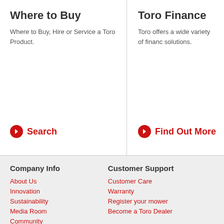Where to Buy
Where to Buy, Hire or Service a Toro Product.
❯ Search
Toro Finance
Toro offers a wide variety of finance solutions.
❯ Find Out More
Company Info
About Us
Innovation
Sustainability
Media Room
Community
Customer Support
Customer Care
Warranty
Register your mower
Become a Toro Dealer